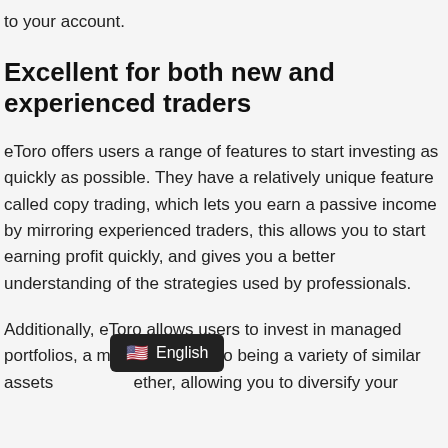to your account.
Excellent for both new and experienced traders
eToro offers users a range of features to start investing as quickly as possible. They have a relatively unique feature called copy trading, which lets you earn a passive income by mirroring experienced traders, this allows you to start earning profit quickly, and gives you a better understanding of the strategies used by professionals.
Additionally, eToro allows users to invest in managed portfolios, a managed portfolio being a variety of similar assets together, allowing you to diversify your